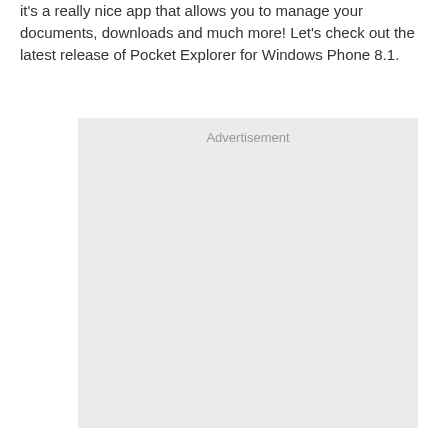it's a really nice app that allows you to manage your documents, downloads and much more! Let's check out the latest release of Pocket Explorer for Windows Phone 8.1.
[Figure (other): Advertisement placeholder box with light grey background and 'Advertisement' label at the top center]